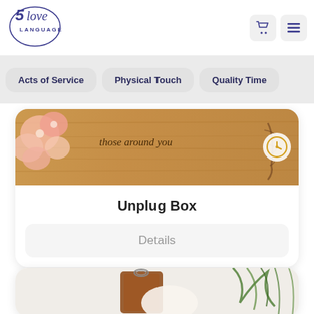[Figure (logo): 5 Love Languages logo with circular border]
Acts of Service
Physical Touch
Quality Time
[Figure (photo): Wooden sign with text 'those around you', pink flowers on left, clock icon on right]
Unplug Box
Details
[Figure (photo): Product image partially visible at bottom with brown leather item and greenery]